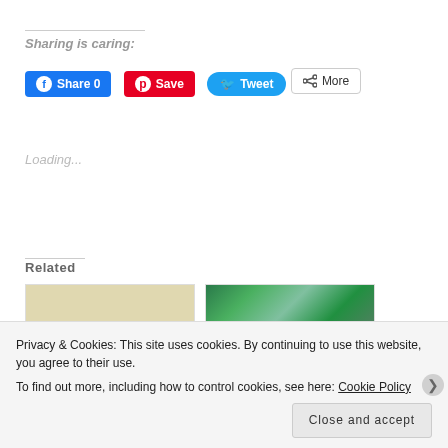Sharing is caring:
[Figure (screenshot): Social sharing buttons: Facebook Share 0, Pinterest Save, Twitter Tweet, and a More button]
Loading...
Related
[Figure (photo): Two related article thumbnail images side by side. Left: comic-style 'MEANWHILE...' banner. Right: colorful green-toned image.]
Privacy & Cookies: This site uses cookies. By continuing to use this website, you agree to their use.
To find out more, including how to control cookies, see here: Cookie Policy
Close and accept